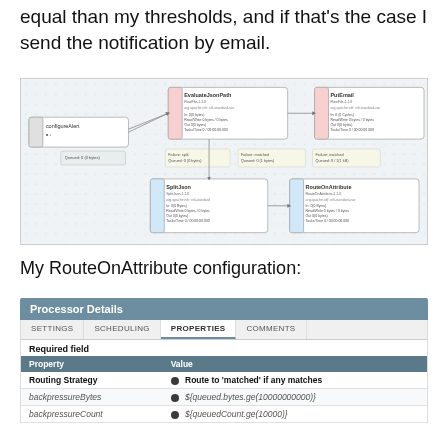equal than my thresholds, and if that's the case I send the notification by email.
[Figure (screenshot): NiFi data flow diagram showing processors: configureAlert, EvaluateJsonPath, PutEmail, SplitJson, RouteOnAttribute with connections labeled 'Queued' amounts and Failure/success routes.]
My RouteOnAttribute configuration:
| Property | Value |
| --- | --- |
| Routing Strategy | Route to 'matched' if any matches |
| backpressureBytes | ${queued.bytes.ge(10000000000)} |
| backpressureCount | ${queuedCount.ge(10000)} |